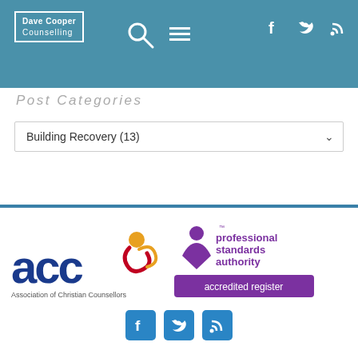Dave Cooper Counselling — navigation header with logo, search, menu, and social icons
Post Categories
Building Recovery (13)
[Figure (logo): ACC — Association of Christian Counsellors logo with colourful swirl figure]
[Figure (logo): Professional Standards Authority — accredited register logo]
[Figure (infographic): Footer social media icons: Facebook, Twitter, RSS]